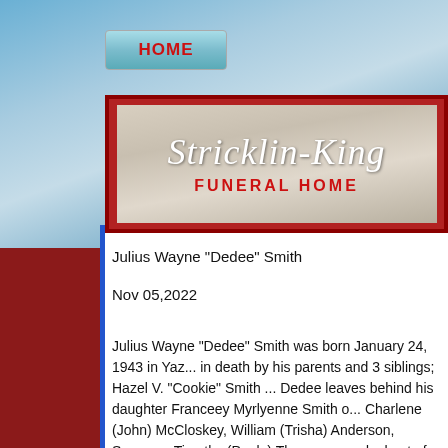[Figure (logo): Stricklin-King Funeral Home logo banner with italic script text on wood-textured background with red border]
Julius Wayne "Dedee" Smith
Nov 05,2022
Julius Wayne "Dedee" Smith was born January 24, 1943 in Yaz... in death by his parents and 3 siblings; Hazel V. "Cookie" Smith ... Dedee leaves behind his daughter Franceey Myrlyenne Smith o... Charlene (John) McCloskey, William (Trisha) Anderson, Sammy... Timothy (Paula) Thompson and a host of great nieces and neph... on The Gang Truck for many years before working for Supervis... retiring. He loved his jobs and was coined "the best road grade... outdoors and his family and will be greatly missed. Stricklin King... services will be officiated by Claudia,adia, atia, and T...